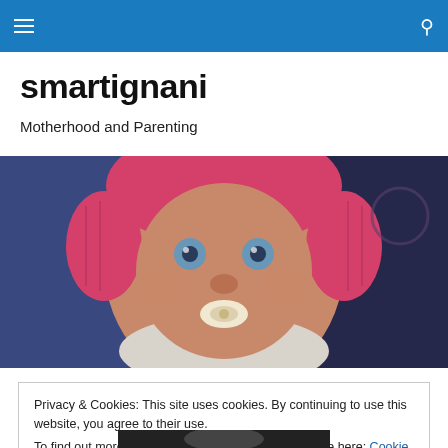smartignani — navigation bar with hamburger menu and search icon
smartignani
Motherhood and Parenting
[Figure (photo): Close-up photo of a baby with blue eyes wearing a pink knitted hat and a pacifier, smiling at the camera. The background shows blue and dark fabric.]
Privacy & Cookies: This site uses cookies. By continuing to use this website, you agree to their use.
To find out more, including how to control cookies, see here: Cookie Policy
Close and accept
[Figure (photo): Partial view of a photo at the bottom of the page, showing a dark background with a partial human figure.]